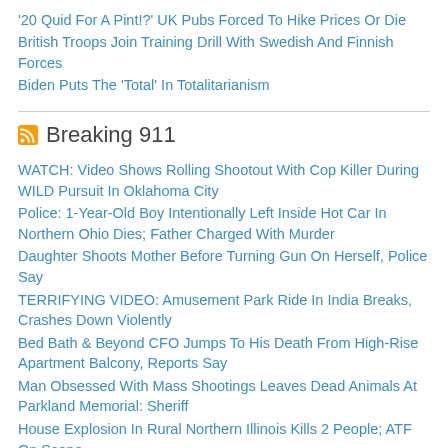'20 Quid For A Pint!?' UK Pubs Forced To Hike Prices Or Die
British Troops Join Training Drill With Swedish And Finnish Forces
Biden Puts The 'Total' In Totalitarianism
Breaking 911
WATCH: Video Shows Rolling Shootout With Cop Killer During WILD Pursuit In Oklahoma City
Police: 1-Year-Old Boy Intentionally Left Inside Hot Car In Northern Ohio Dies; Father Charged With Murder
Daughter Shoots Mother Before Turning Gun On Herself, Police Say
TERRIFYING VIDEO: Amusement Park Ride In India Breaks, Crashes Down Violently
Bed Bath & Beyond CFO Jumps To His Death From High-Rise Apartment Balcony, Reports Say
Man Obsessed With Mass Shootings Leaves Dead Animals At Parkland Memorial: Sheriff
House Explosion In Rural Northern Illinois Kills 2 People; ATF On Scene
US Ambassador to Russia Leaving Post